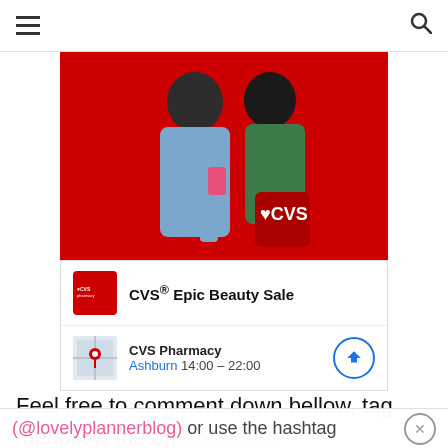Navigation bar with hamburger menu and search icon
[Figure (photo): CVS ad banner: two women smiling on a red background, one looking at phone, one holding a red tote bag with CVS logo. White CVS heart logo on right side of image.]
CVS® Epic Beauty Sale
CVS Pharmacy
Ashburn 14:00 – 22:00
Feel free to comment down bellow, tag me/follow me on instagram
(@lovelyplannerblog) or use the hashtag